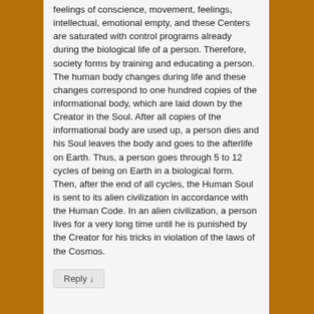feelings of conscience, movement, feelings, intellectual, emotional empty, and these Centers are saturated with control programs already during the biological life of a person. Therefore, society forms by training and educating a person. The human body changes during life and these changes correspond to one hundred copies of the informational body, which are laid down by the Creator in the Soul. After all copies of the informational body are used up, a person dies and his Soul leaves the body and goes to the afterlife on Earth. Thus, a person goes through 5 to 12 cycles of being on Earth in a biological form. Then, after the end of all cycles, the Human Soul is sent to its alien civilization in accordance with the Human Code. In an alien civilization, a person lives for a very long time until he is punished by the Creator for his tricks in violation of the laws of the Cosmos.
Reply ↓